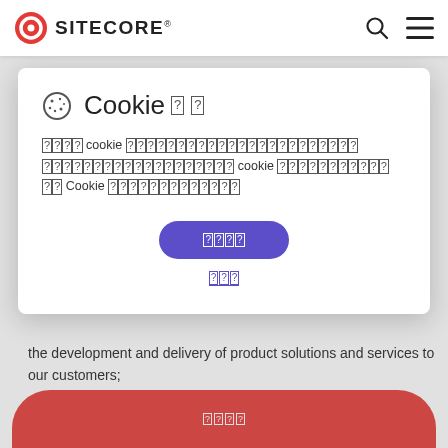SITECORE
[Figure (screenshot): Sitecore cookie consent modal overlay on a webpage. The modal shows a cookie icon, title 'Cookie [tofu][tofu]', descriptive text with tofu characters, an accept button in purple, and a reject link. Behind the modal is a webpage with text about 'the development and delivery of product solutions and services to our customers;' and a bullet point starting 'Departmental service providers such as'. At the bottom is a red rounded button with tofu characters.]
[tofu][tofu][tofu][tofu] cookie [tofu×many] cookie [tofu×many] [tofu][tofu] Cookie [tofu×many]
the development and delivery of product solutions and services to our customers;
Departmental service providers such as